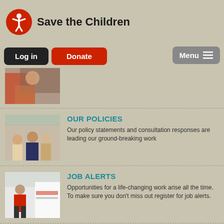Save the Children
[Figure (screenshot): Partial cropped photo at top of page showing hands/people]
OUR POLICIES
Our policy statements and consultation responses are leading our ground-breaking work
JOB ALERTS
Opportunities for a life-changing work arise all the time. To make sure you don't miss out register for job alerts.
FAQ